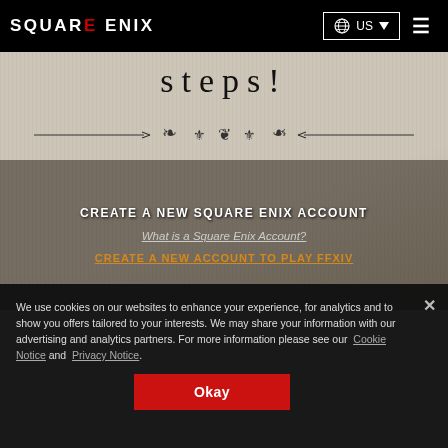SQUARE ENIX — Navigation bar with logo, US language selector, and menu icon
steps!
[Figure (illustration): Decorative ornamental divider line with scrollwork]
CREATE A NEW SQUARE ENIX ACCOUNT
What is a Square Enix Account?
CREATE A NEW ACCOUNT TO PLAY FFXIV
We use cookies on our websites to enhance your experience, for analytics and to show you offers tailored to your interests. We may share your information with our advertising and analytics partners. For more information please see our Cookie Notice and Privacy Notice.
Okay